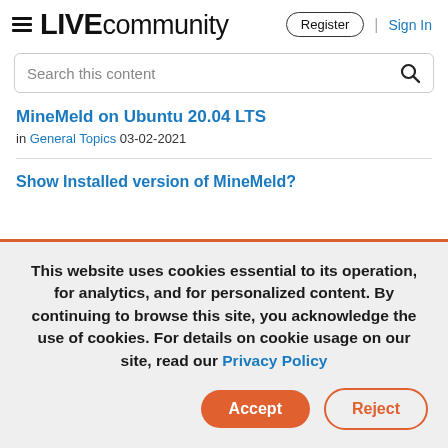LIVEcommunity  Register | Sign In
Search this content
MineMeld on Ubuntu 20.04 LTS
in General Topics 03-02-2021
Show Installed version of MineMeld?
This website uses cookies essential to its operation, for analytics, and for personalized content. By continuing to browse this site, you acknowledge the use of cookies. For details on cookie usage on our site, read our Privacy Policy
Accept  Reject